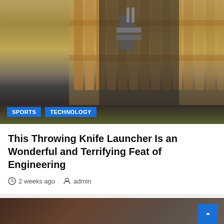[Figure (photo): Person wearing dark coat holding a throwing knife launcher device, standing in a backyard with wooden fence in the background. Tags 'SPORTS' and 'TECHNOLOGY' overlaid at bottom left.]
This Throwing Knife Launcher Is an Wonderful and Terrifying Feat of Engineering
2 weeks ago   admin
[Figure (photo): Dark brownish/reddish blurred background image for the column post section with a back-to-top button and a thumbnail image of silhouetted figures.]
Column Post
Watch the Honor IFA 2022 keynote reside